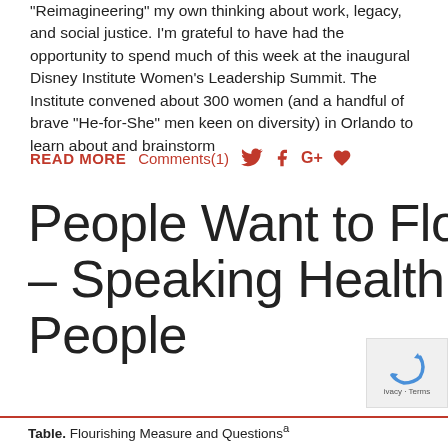“Reimagineering” my own thinking about work, legacy, and social justice. I’m grateful to have had the opportunity to spend much of this week at the inaugural Disney Institute Women’s Leadership Summit. The Institute convened about 300 women (and a handful of brave “He-for-She” men keen on diversity) in Orlando to learn about and brainstorm
READ MORE   Comments(1)
People Want to Flourish, Not Just Live – Speaking Health Politics to Real People
Table. Flourishing Measure and Questionsᵃ